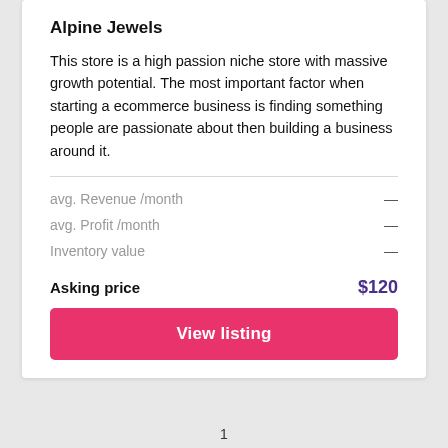Alpine Jewels
This store is a high passion niche store with massive growth potential. The most important factor when starting a ecommerce business is finding something people are passionate about then building a business around it.
avg. Revenue /month — —
avg. Profit /month — —
Inventory value — —
Asking price $120
View listing
1